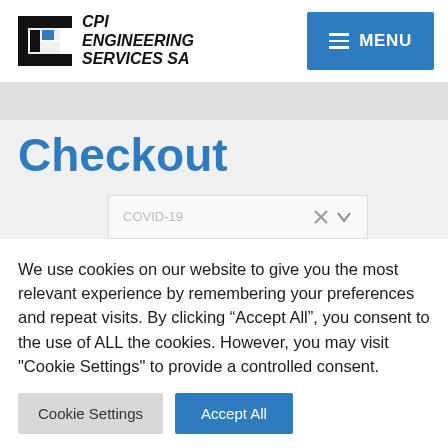[Figure (logo): CPI Engineering Services SA logo with stylized C/P/I icon in black and blue, italic bold text reading CPI ENGINEERING SERVICES SA]
[Figure (other): Blue MENU button with hamburger icon (three horizontal lines)]
Checkout
[Figure (screenshot): Dropdown input field with COVID-19 text partially visible and chevron/X icons]
We use cookies on our website to give you the most relevant experience by remembering your preferences and repeat visits. By clicking “Accept All”, you consent to the use of ALL the cookies. However, you may visit "Cookie Settings" to provide a controlled consent.
Cookie Settings
Accept All